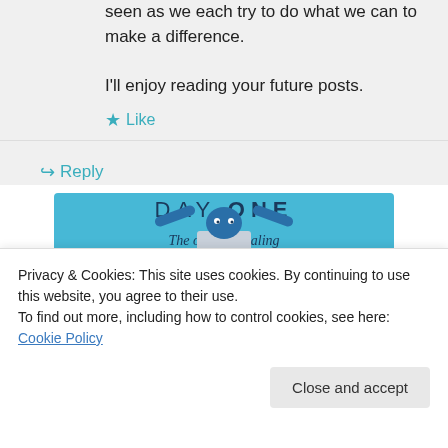seen as we each try to do what we can to make a difference.
I'll enjoy reading your future posts.
★ Like
↪ Reply
[Figure (illustration): Day One journaling app advertisement with blue background, cartoon character holding a box, text: DAY ONE - The only journaling app you'll ever need.]
Privacy & Cookies: This site uses cookies. By continuing to use this website, you agree to their use.
To find out more, including how to control cookies, see here: Cookie Policy
Close and accept